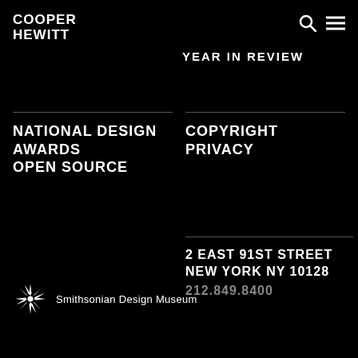COOPER HEWITT
YEAR IN REVIEW
NATIONAL DESIGN AWARDS
OPEN SOURCE
COPYRIGHT
PRIVACY
2 EAST 91ST STREET
NEW YORK NY 10128
212.849.8400
Smithsonian Design Museum